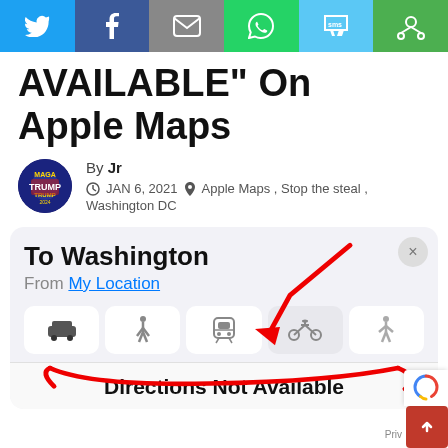Social share bar: Twitter, Facebook, Email, WhatsApp, SMS, Other
AVAILABLE" On Apple Maps
By Jr
JAN 6, 2021  Apple Maps, Stop the steal, Washington DC
[Figure (screenshot): Apple Maps screenshot showing 'To Washington / From My Location' with transport mode icons and 'Directions Not Available' message. Red arrow annotations drawn on image pointing to bicycle icon and directions not available bar.]